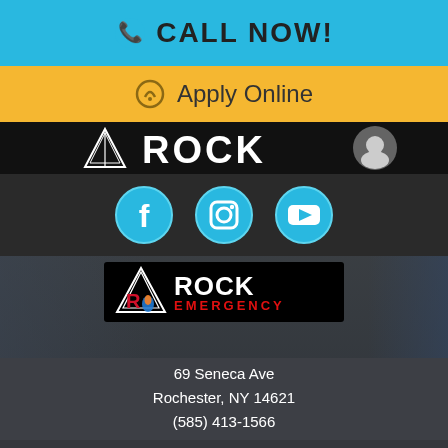CALL NOW!
Apply Online
[Figure (logo): Rock Emergency logo with mountain/flame icon and wordmark in black bar with partial nav elements]
[Figure (infographic): Three social media icon circles: Facebook, Instagram, YouTube in teal/blue on dark background]
[Figure (logo): Rock Emergency logo with mountain flame icon, white ROCK text and red EMERGENCY text on black background]
69 Seneca Ave
Rochester, NY 14621
(585) 413-1566
Helpful Links
Home